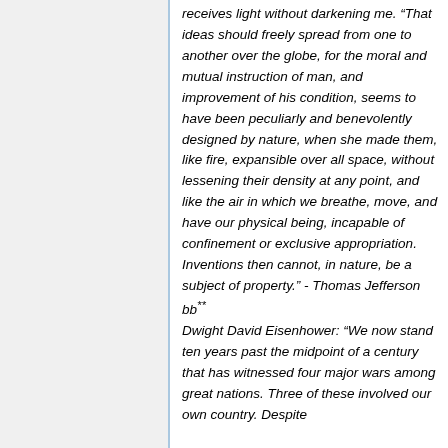receives light without darkening me. “That ideas should freely spread from one to another over the globe, for the moral and mutual instruction of man, and improvement of his condition, seems to have been peculiarly and benevolently designed by nature, when she made them, like fire, expansible over all space, without lessening their density at any point, and like the air in which we breathe, move, and have our physical being, incapable of confinement or exclusive appropriation. Inventions then cannot, in nature, be a subject of property." - Thomas Jefferson bb** Dwight David Eisenhower: "We now stand ten years past the midpoint of a century that has witnessed four major wars among great nations. Three of these involved our own country. Despite